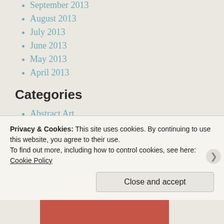September 2013
August 2013
July 2013
June 2013
May 2013
April 2013
Categories
Abstract Art
ACrylic
Acrylic painting
Altered Art
art
Art and my life
Biot…
Privacy & Cookies: This site uses cookies. By continuing to use this website, you agree to their use.
To find out more, including how to control cookies, see here: Cookie Policy
Close and accept